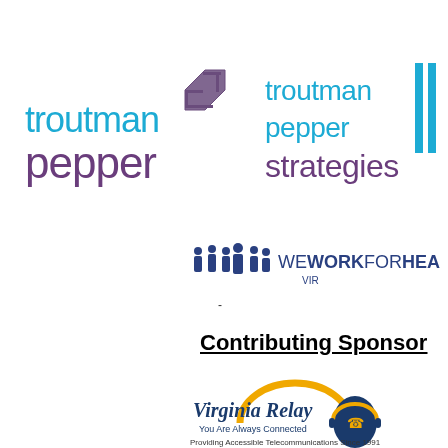[Figure (logo): Troutman Pepper law firm logo - 'troutman' in cyan/teal and 'pepper' in dark purple with a stylized angular icon]
[Figure (logo): Troutman Pepper Strategies logo - 'troutman pepper' in cyan/teal, 'strategies' in dark purple with double vertical bar icon]
[Figure (logo): We Work For Health Virginia logo - silhouettes of people in dark blue with 'WEWORKFORHEA VIR' text]
Contributing Sponsor
[Figure (logo): Virginia Relay logo - 'Virginia Relay' text with golden/orange arc above a dark blue silhouette of a head with headset. Tagline: 'You Are Always Connected'. Below: 'Providing Accessible Telecommunications Since 1991']